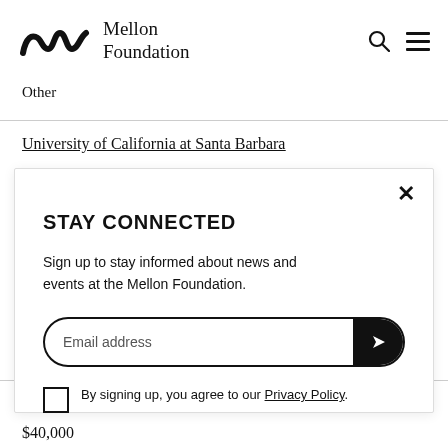Mellon Foundation
Other
University of California at Santa Barbara
STAY CONNECTED
Sign up to stay informed about news and events at the Mellon Foundation.
Email address
By signing up, you agree to our Privacy Policy.
$40,000